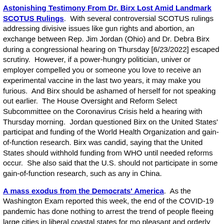Astonishing Testimony From Dr. Birx Lost Amid Landmark SCOTUS Rulings. With several controversial SCOTUS rulings addressing divisive issues like gun rights and abortion, an exchange between Rep. Jim Jordan (Ohio) and Dr. Debra Birx during a congressional hearing on Thursday [6/23/2022] escaped scrutiny. However, if a power-hungry politician, university or employer compelled you or someone you love to receive an experimental vaccine in the last two years, it may make you furious. And Birx should be ashamed of herself for not speaking out earlier. The House Oversight and Reform Select Subcommittee on the Coronavirus Crisis held a hearing with Thursday morning. Jordan questioned Birx on the United States' participation and funding of the World Health Organization and gain-of-function research. Birx was candid, saying that the United States should withhold funding from WHO until needed reforms occur. She also said that the U.S. should not participate in some gain-of-function research, such as any in China.
A mass exodus from the Democrats' America. As the Washington Examiner reported this week, the end of the COVID-19 pandemic has done nothing to arrest the trend of people fleeing large cities in liberal coastal states for more pleasant and orderly locales, particularly in the Mountain West and the Sun Belt. A mixture of unreasonable pandemic restrictions, rising crime, lawlessness, and hostility toward employers has forced this continued urban exodus. [...] It is hardly a coincidence that all 15 of the 15 fastest-growing cities and towns between July 2020 and July 2021 are in states that Republicans govern: Arizona, Texas, Florida, Tennessee, and Idaho. And 14 out of the fastest-declining cities during the same period were in states that Democrats governed at the time. What towns and cities gaining population generally have in common both before and during COVID-19 is that they live under laws made by Republicans. What towns and cities losing population have in common is that they live under laws made by Democrats. Not all Democratic states and cities are equally anti-business, but COVID-19 helped bring out the totalitar